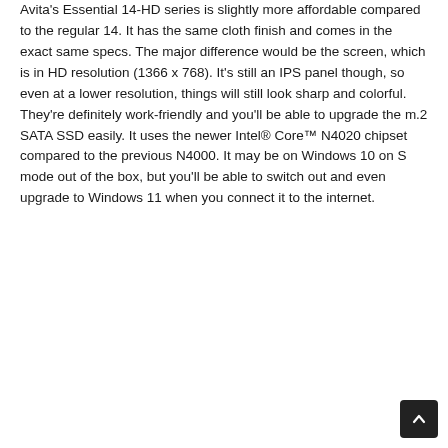Avita's Essential 14-HD series is slightly more affordable compared to the regular 14. It has the same cloth finish and comes in the exact same specs. The major difference would be the screen, which is in HD resolution (1366 x 768). It's still an IPS panel though, so even at a lower resolution, things will still look sharp and colorful. They're definitely work-friendly and you'll be able to upgrade the m.2 SATA SSD easily. It uses the newer Intel® Core™ N4020 chipset compared to the previous N4000. It may be on Windows 10 on S mode out of the box, but you'll be able to switch out and even upgrade to Windows 11 when you connect it to the internet.
[Figure (other): A small dark rounded-square scroll-to-top button with an upward chevron arrow, positioned in the bottom-right corner of the page.]